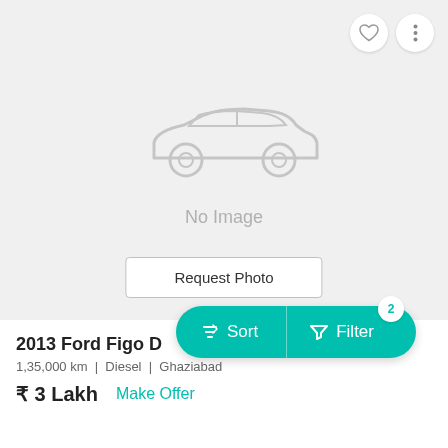[Figure (screenshot): Grey placeholder area with car silhouette icon and 'No Image' text, with a 'Request Photo' button at the bottom. Heart and three-dot menu icons in top right corner.]
2013 Ford Figo D... 4
1,35,000 km  |  Diesel  |  Ghaziabad
₹ 3 Lakh    Make Offer
[Figure (infographic): Teal/turquoise pill-shaped Sort and Filter button overlay with badge showing '2' on the Filter side]